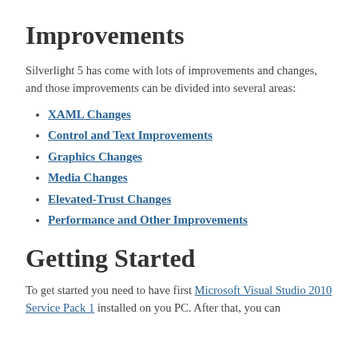Improvements
Silverlight 5 has come with lots of improvements and changes, and those improvements can be divided into several areas:
XAML Changes
Control and Text Improvements
Graphics Changes
Media Changes
Elevated-Trust Changes
Performance and Other Improvements
Getting Started
To get started you need to have first Microsoft Visual Studio 2010 Service Pack 1 installed on you PC. After that, you can